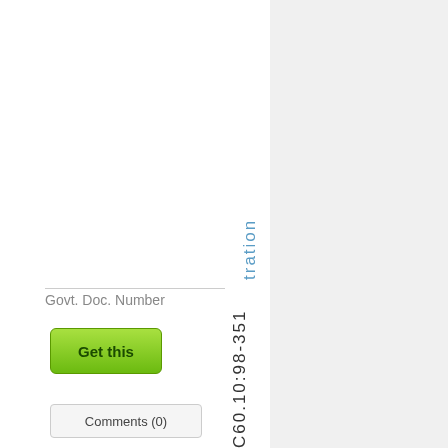tration
Govt. Doc. Number
C60.10:98-351
Get this
Comments (0)